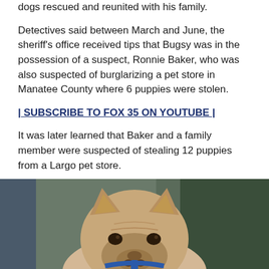dogs rescued and reunited with his family.
Detectives said between March and June, the sheriff's office received tips that Bugsy was in the possession of a suspect, Ronnie Baker, who was also suspected of burglarizing a pet store in Manatee County where 6 puppies were stolen.
| SUBSCRIBE TO FOX 35 ON YOUTUBE |
It was later learned that Baker and a family member were suspected of stealing 12 puppies from a Largo pet store.
[Figure (photo): A French Bulldog with cream/fawn coloring wearing a blue harness, photographed close-up against a blurred background.]